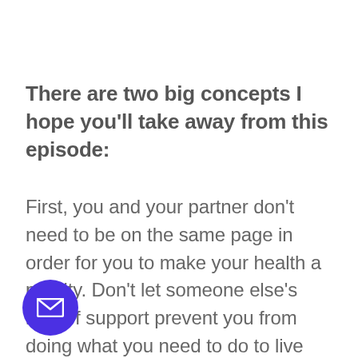There are two big concepts I hope you'll take away from this episode:
First, you and your partner don't need to be on the same page in order for you to make your health a priority. Don't let someone else's lack of support prevent you from doing what you need to do to live your life to the